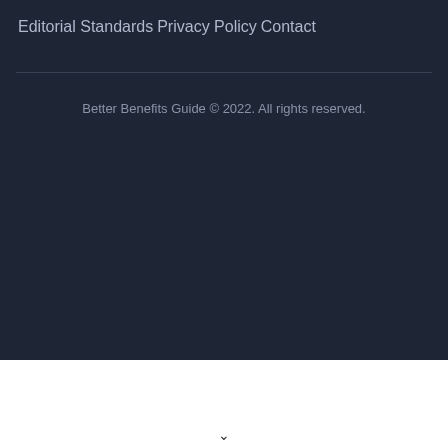Editorial Standards
Privacy Policy
Contact
Better Benefits Guide © 2022. All rights reserved.